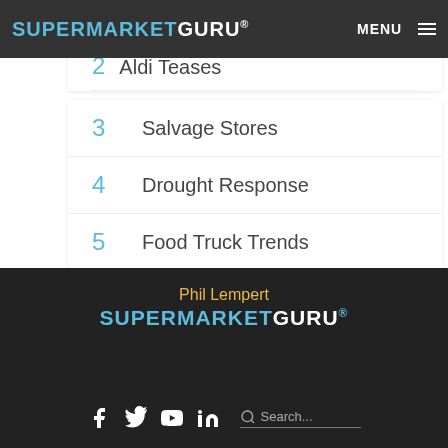SUPERMARKETGURU® MENU
2  Aldi Teases
3  Salvage Stores
4  Drought Response
5  Food Truck Trends
6  Labels Matter
Phil Lempert SUPERMARKETGURU®
Social icons: Facebook, Twitter, YouTube, LinkedIn | Search...